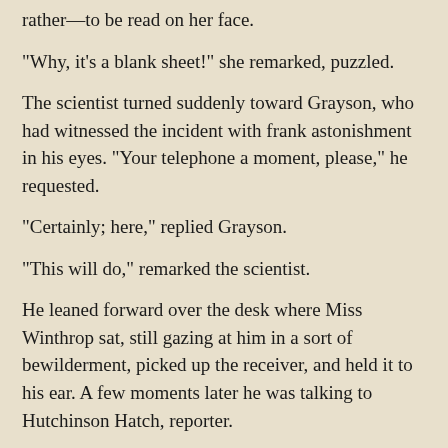rather—to be read on her face.
"Why, it's a blank sheet!" she remarked, puzzled.
The scientist turned suddenly toward Grayson, who had witnessed the incident with frank astonishment in his eyes. "Your telephone a moment, please," he requested.
"Certainly; here," replied Grayson.
"This will do," remarked the scientist.
He leaned forward over the desk where Miss Winthrop sat, still gazing at him in a sort of bewilderment, picked up the receiver, and held it to his ear. A few moments later he was talking to Hutchinson Hatch, reporter.
"I merely wanted to ask you to meet me at my apartment in an hour," said the scientist. "It is very important."
That was all. He hung up the receiver, paused for a moment to admire an exquisitely wrought silver box—a "vanity" box—on Miss Winthrop's desk, beside the telephone, then took a